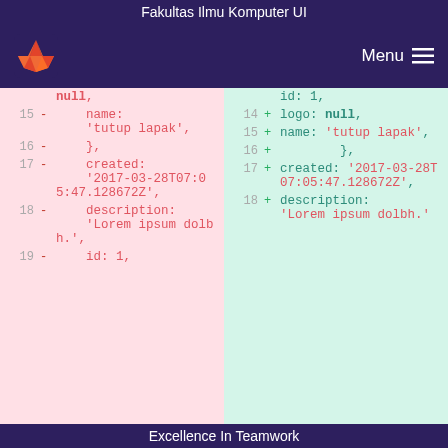Fakultas Ilmu Komputer UI
[Figure (screenshot): GitLab navigation bar with fox logo and Menu button on dark purple background]
[Figure (screenshot): Code diff view showing two columns: left (red background, removed lines 15-19) and right (green background, added lines 14-18) with YAML/JS object properties including null, name: 'tutup lapak', created: '2017-03-28T07:05:47.128672Z', description: 'Lorem ipsum dolbh.', id: 1]
Excellence In Teamwork